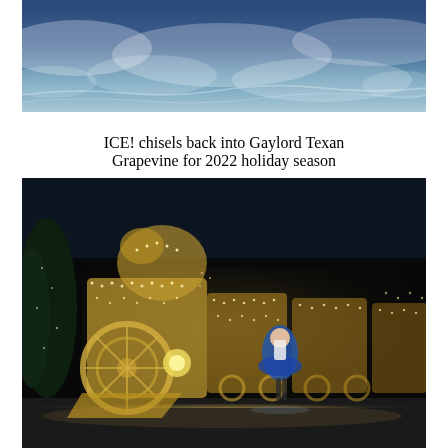[Figure (photo): Top portion of a blueish winter/ice scene photo, showing a wave-like icy surface with blue and white tones, partially cropped.]
ICE! chisels back into Gaylord Texan Grapevine for 2022 holiday season
[Figure (photo): A large train sculpture made of warm white string/fairy lights against a dark night sky background. A girl in a blue tutu dress stands in front of the illuminated train display. Christmas trees are visible on the left side.]